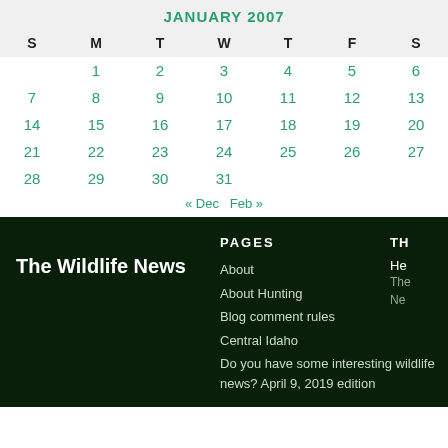JANUARY 2007
| S | M | T | W | T | F | S |
| --- | --- | --- | --- | --- | --- | --- |
|  | 1 | 2 | 3 | 4 | 5 | 6 |
| 7 | 8 | 9 | 10 | 11 | 12 | 13 |
| 14 | 15 | 16 | 17 | 18 | 19 | 20 |
| 21 | 22 | 23 | 24 | 25 | 26 | 27 |
| 28 | 29 | 30 | 31 |  |  |  |
« Dec   Feb »
The Wildlife News
PAGES
About
About Hunting
Blog comment rules
Central Idaho
Do you have some interesting wildlife news? April 9, 2019 edition
TH
He
The
Ne